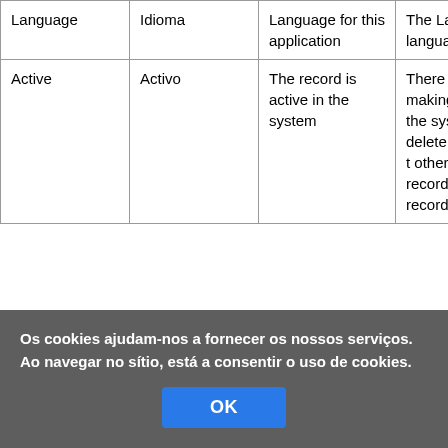| Language | Idioma | Language for this application | The Lan identifie languag use for |
| Active | Activo | The record is active in the system | There a methods making unavail the syst One is t delete th record, other is activate record. A activate record |
Os cookies ajudam-nos a fornecer os nossos serviços. Ao navegar no sítio, está a consentir o uso de cookies.
OK